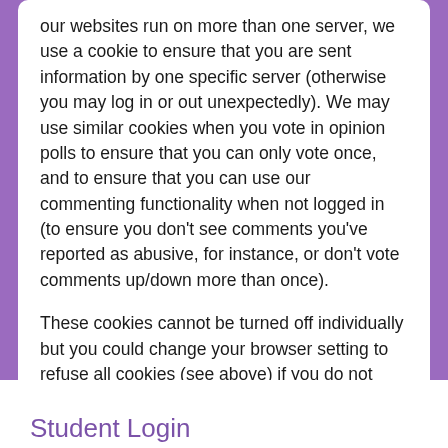our websites run on more than one server, we use a cookie to ensure that you are sent information by one specific server (otherwise you may log in or out unexpectedly). We may use similar cookies when you vote in opinion polls to ensure that you can only vote once, and to ensure that you can use our commenting functionality when not logged in (to ensure you don't see comments you've reported as abusive, for instance, or don't vote comments up/down more than once).
These cookies cannot be turned off individually but you could change your browser setting to refuse all cookies (see above) if you do not wish to accept them.
Student Login